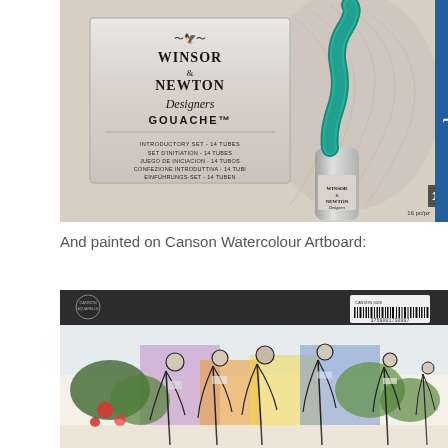[Figure (photo): Winsor & Newton Designers Gouache introductory set box with a teal paint tube squeezed open on top. Box text lists: INTRODUCTORY SET - 14 TUBES, SET D'INITIATION - 14 TUBES, JUEGO DE INICIACION - 14 TUBOS, CONFEZIONE INTRODUTTIVA - 14 TUBI, EINFÜHRUNGS-SET - 14 TUBEN. Label shows '16 pc/pz' and '10' on the corner.]
And painted on Canson Watercolour Artboard:
[Figure (photo): Canson Watercolour Artboard packaging showing a panoramic watercolour painting of a market scene with figures, colourful produce and plants, rendered in loose gouache/watercolour style. The packaging has a dark grey/black header strip with Canson logo and a barcode label in the upper right.]